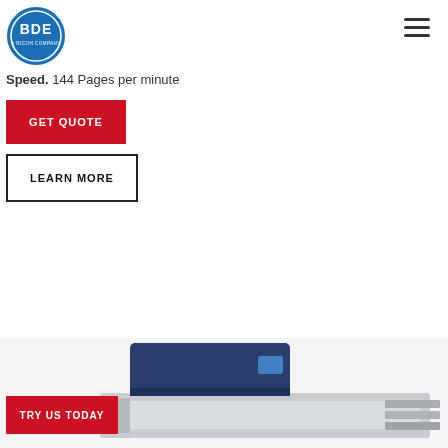[Figure (logo): BDE logo — circular blue badge with 'BDE' text and 'A RICOH COMPANY' subtitle]
[Figure (other): Hamburger menu icon (three horizontal lines) in top right corner]
Speed. 144 Pages per minute
GET QUOTE
LEARN MORE
[Figure (photo): Photo of a Xerox/Ricoh high-speed production printer in blue/white, shown at bottom of page]
TRY US TODAY